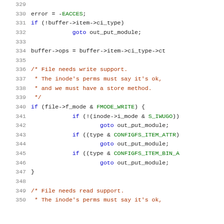[Figure (screenshot): Source code listing lines 329-350 of a Linux kernel C file, showing configfs file open logic with error handling, permission checks, and comments about file read/write support.]